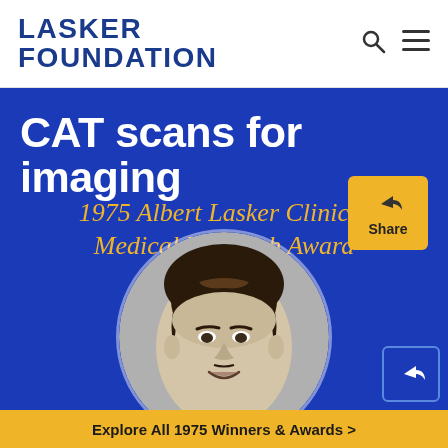LASKER FOUNDATION
CAT scans for imaging
1975 Albert Lasker Clinical Medical Research Award
[Figure (photo): Black and white circular portrait photo of a man smiling, partially visible]
Explore All 1975 Winners & Awards >